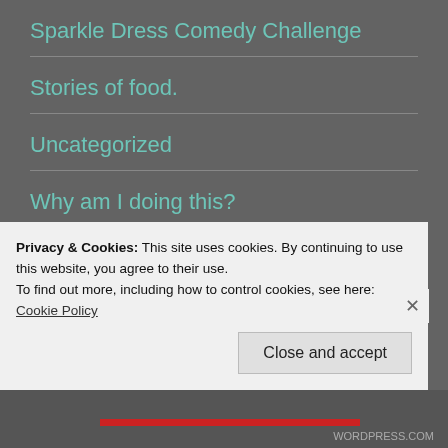Sparkle Dress Comedy Challenge
Stories of food.
Uncategorized
Why am I doing this?
INSTAGRAM
No Instagram images were found.
Privacy & Cookies: This site uses cookies. By continuing to use this website, you agree to their use.
To find out more, including how to control cookies, see here: Cookie Policy
Close and accept